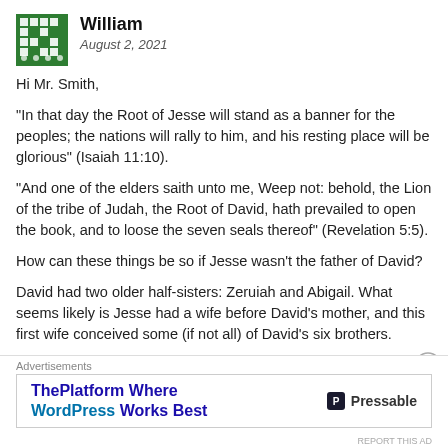William
August 2, 2021
Hi Mr. Smith,
“In that day the Root of Jesse will stand as a banner for the peoples; the nations will rally to him, and his resting place will be glorious” (Isaiah 11:10).
“And one of the elders saith unto me, Weep not: behold, the Lion of the tribe of Judah, the Root of David, hath prevailed to open the book, and to loose the seven seals thereof” (Revelation 5:5).
How can these things be so if Jesse wasn’t the father of David?
David had two older half-sisters: Zeruiah and Abigail. What seems likely is Jesse had a wife before David’s mother, and this first wife conceived some (if not all) of David’s six brothers.
Advertisements
[Figure (other): Advertisement banner: ThePlatform Where WordPress Works Best — Pressable]